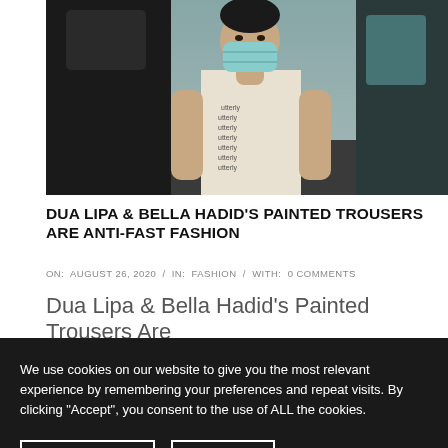[Figure (photo): Person wearing a light blue face mask and white printed tank top, standing near a black car door, photographed outdoors]
DUA LIPA & BELLA HADID'S PAINTED TROUSERS ARE ANTI-FAST FASHION
ON:  AUGUST 26, 2020  /  IN:  FASHION  /  WITH:  0 COMMENTS
Dua Lipa & Bella Hadid's Painted Trousers Are
We use cookies on our website to give you the most relevant experience by remembering your preferences and repeat visits. By clicking "Accept", you consent to the use of ALL the cookies.